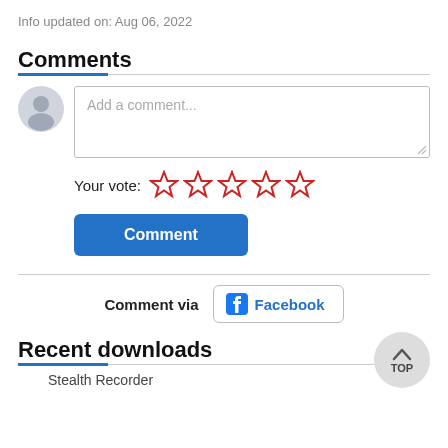Info updated on: Aug 06, 2022
Comments
[Figure (screenshot): Comment input area with avatar icon and text box placeholder 'Add a comment...']
Your vote: (5 empty star rating icons)
Comment (button)
Comment via Facebook (button)
Recent downloads
Stealth Recorder